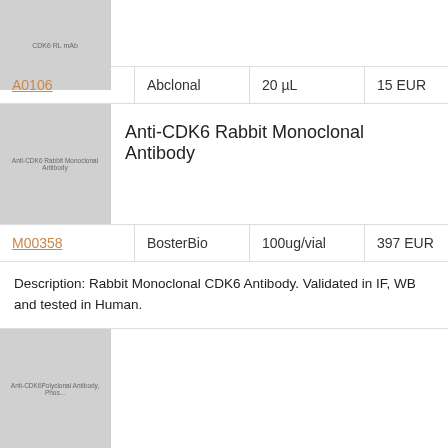[Figure (photo): Thumbnail placeholder for CDK6 antibody product image, labeled 'CDK6 RL mAb']
| Catalog | Supplier | Quantity | Price |
| --- | --- | --- | --- |
| A0106 | Abclonal | 20 µL | 15 EUR |
[Figure (photo): Thumbnail placeholder for Anti-CDK6 Rabbit Monoclonal Antibody product image]
Anti-CDK6 Rabbit Monoclonal Antibody
| Catalog | Supplier | Quantity | Price |
| --- | --- | --- | --- |
| M00358 | BosterBio | 100ug/vial | 397 EUR |
Description: Rabbit Monoclonal CDK6 Antibody. Validated in IF, WB and tested in Human.
[Figure (photo): Thumbnail placeholder for Rabbit Anti-Human CDK6 Polyclonal Antibody, Phospho product image]
Rabbit Anti-Human CDK6 Polyclonal Antibody, Phosph